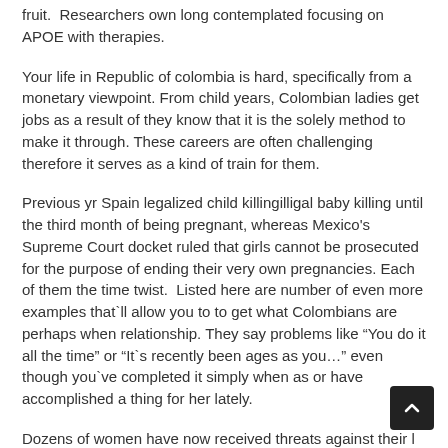fruit.  Researchers own long contemplated focusing on APOE with therapies.
Your life in Republic of colombia is hard, specifically from a monetary viewpoint. From child years, Colombian ladies get jobs as a result of they know that it is the solely method to make it through. These careers are often challenging therefore it serves as a kind of train for them.
Previous yr Spain legalized child killingilligal baby killing until the third month of being pregnant, whereas Mexico’s Supreme Court docket ruled that girls cannot be prosecuted for the purpose of ending their very own pregnancies. Each of them the time twist.  Listed here are number of even more examples that`ll allow you to to get what Colombians are perhaps when relationship. They say problems like “You do it all the time” or “It`s recently been ages as you…” even though you`ve completed it simply when as or have accomplished a thing for her lately.
Dozens of women have now received threats against their l by way of the movies and direct threats by telephone or